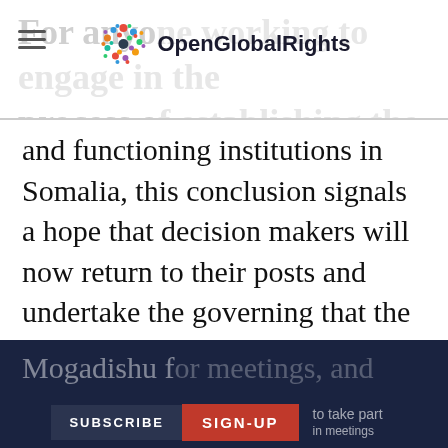OpenGlobalRights — For anyone working to engage in the process of establishing the rule of law
and functioning institutions in Somalia, this conclusion signals a hope that decision makers will now return to their posts and undertake the governing that the country so desperately needs. This hope is particularly important beyond Mogadishu, the country's capital city. The elections have proved disruptive to provincial administrations as local officials have inevitably been drawn into lobbying and politics, often travelling to Mogadishu for meetings, and leaving a vacuum in